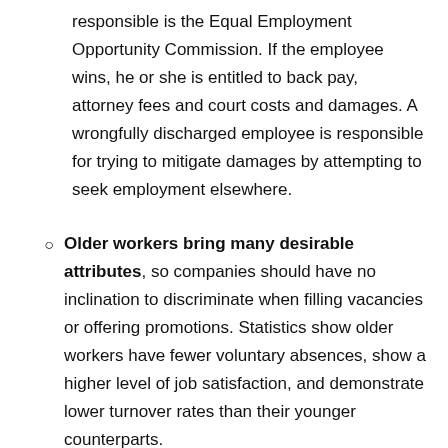responsible is the Equal Employment Opportunity Commission. If the employee wins, he or she is entitled to back pay, attorney fees and court costs and damages. A wrongfully discharged employee is responsible for trying to mitigate damages by attempting to seek employment elsewhere.
Older workers bring many desirable attributes, so companies should have no inclination to discriminate when filling vacancies or offering promotions. Statistics show older workers have fewer voluntary absences, show a higher level of job satisfaction, and demonstrate lower turnover rates than their younger counterparts.